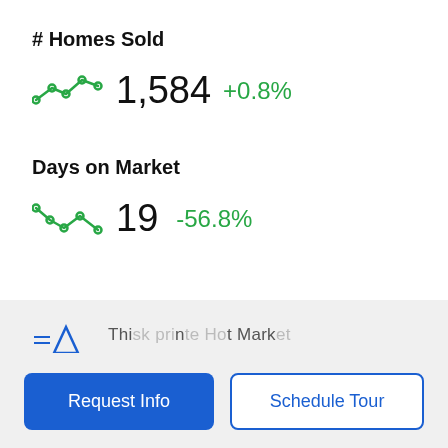# Homes Sold
[Figure (other): Green sparkline trend icon with upward movement]
1,584 +0.8%
Days on Market
[Figure (other): Green sparkline trend icon with downward movement]
19  -56.8%
[Figure (other): Partial blue triangle trend illustration partially visible at bottom]
Thi... ...i... ..t Mark...
Request Info
Schedule Tour